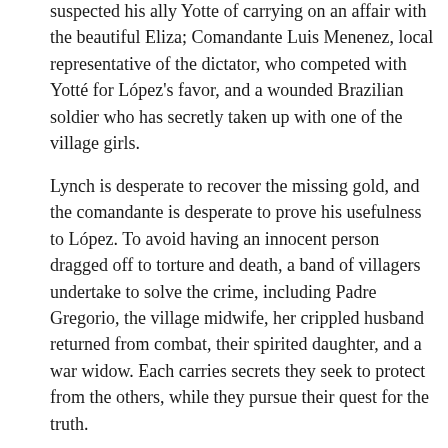suspected his ally Yotte of carrying on an affair with the beautiful Eliza; Comandante Luis Menenez, local representative of the dictator, who competed with Yotté for López's favor, and a wounded Brazilian soldier who has secretly taken up with one of the village girls.
Lynch is desperate to recover the missing gold, and the comandante is desperate to prove his usefulness to López. To avoid having an innocent person dragged off to torture and death, a band of villagers undertake to solve the crime, including Padre Gregorio, the village midwife, her crippled husband returned from combat, their spirited daughter, and a war widow. Each carries secrets they seek to protect from the others, while they pursue their quest for the truth.
Lyrical, complex, and meticulously researched, Invisible Country is an ingenious cross between Isabel Allende and Agatha Christie.
Visit Annamaria Alfieri's website.